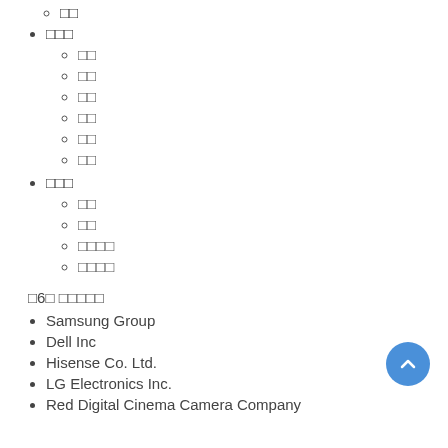□□□
□□
□□
□□
□□
□□
□□
□□□
□□
□□
□□□□
□□□□
□6□ □□□□□
Samsung Group
Dell Inc
Hisense Co. Ltd.
LG Electronics Inc.
Red Digital Cinema Camera Company